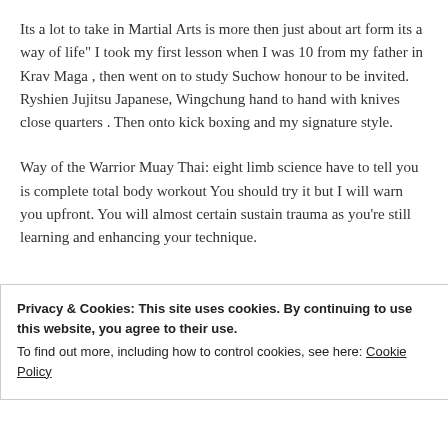Its a lot to take in Martial Arts is more then just about art form its a way of life" I took my first lesson when I was 10 from my father in Krav Maga , then went on to study Suchow honour to be invited. Ryshien Jujitsu Japanese, Wingchung hand to hand with knives close quarters . Then onto kick boxing and my signature style.
Way of the Warrior Muay Thai: eight limb science have to tell you is complete total body workout You should try it but I will warn you upfront. You will almost certain sustain trauma as you're still learning and enhancing your technique.
Privacy & Cookies: This site uses cookies. By continuing to use this website, you agree to their use.
To find out more, including how to control cookies, see here: Cookie Policy